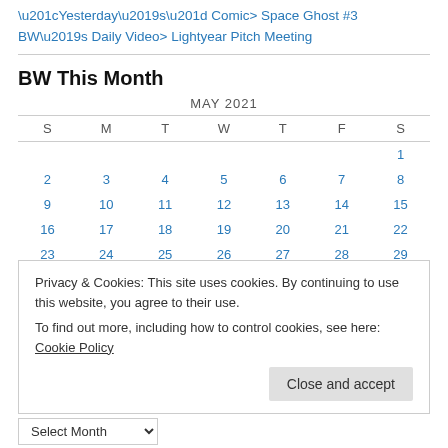“Yesterday’s” Comic> Space Ghost #3
BW’s Daily Video> Lightyear Pitch Meeting
BW This Month
| S | M | T | W | T | F | S |
| --- | --- | --- | --- | --- | --- | --- |
|  |  |  |  |  |  | 1 |
| 2 | 3 | 4 | 5 | 6 | 7 | 8 |
| 9 | 10 | 11 | 12 | 13 | 14 | 15 |
| 16 | 17 | 18 | 19 | 20 | 21 | 22 |
| 23 | 24 | 25 | 26 | 27 | 28 | 29 |
Privacy & Cookies: This site uses cookies. By continuing to use this website, you agree to their use.
To find out more, including how to control cookies, see here: Cookie Policy